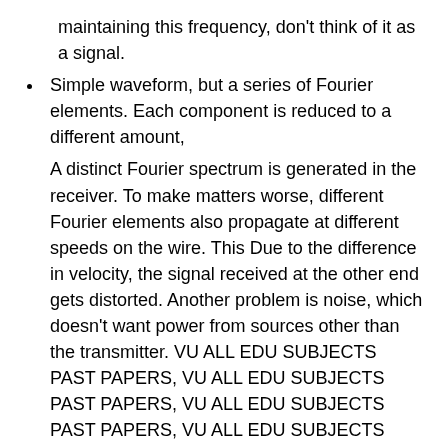maintaining this frequency, don't think of it as a signal.
Simple waveform, but a series of Fourier elements. Each component is reduced to a different amount,
A distinct Fourier spectrum is generated in the receiver. To make matters worse, different Fourier elements also propagate at different speeds on the wire. This Due to the difference in velocity, the signal received at the other end gets distorted. Another problem is noise, which doesn't want power from sources other than the transmitter. VU ALL EDU SUBJECTS PAST PAPERS, VU ALL EDU SUBJECTS PAST PAPERS, VU ALL EDU SUBJECTS PAST PAPERS, VU ALL EDU SUBJECTS PAST PAPERS, VU ALL EDU SUBJECTS PAST PAPERS, VU ALL EDU SUBJECTS PAST